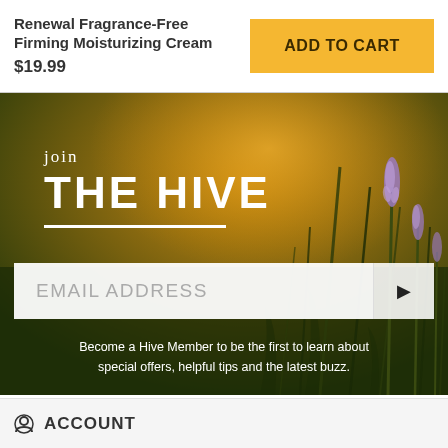Renewal Fragrance-Free Firming Moisturizing Cream
$19.99
ADD TO CART
[Figure (photo): Background photo of lavender flowers in a field with warm golden bokeh light]
join
THE HIVE
EMAIL ADDRESS
Become a Hive Member to be the first to learn about special offers, helpful tips and the latest buzz.
ACCOUNT